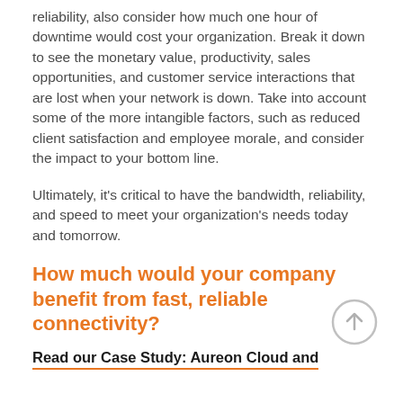reliability, also consider how much one hour of downtime would cost your organization. Break it down to see the monetary value, productivity, sales opportunities, and customer service interactions that are lost when your network is down. Take into account some of the more intangible factors, such as reduced client satisfaction and employee morale, and consider the impact to your bottom line.
Ultimately, it's critical to have the bandwidth, reliability, and speed to meet your organization's needs today and tomorrow.
How much would your company benefit from fast, reliable connectivity?
Read our Case Study: Aureon Cloud and